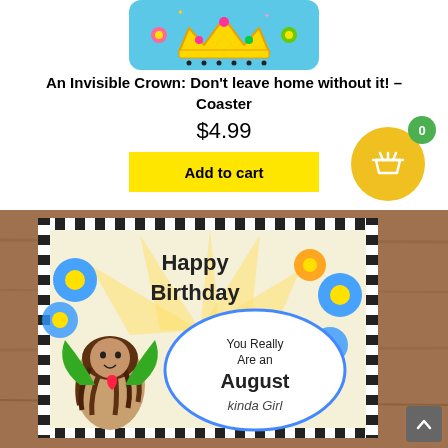[Figure (photo): Product coaster with colorful crown and flowers design on blue background, rounded corners]
An Invisible Crown: Don't leave home without it! – Coaster
$4.99
Add to cart
[Figure (photo): Birthday coaster showing a girl with dreadlocks and text reading 'Happy Birthday You Really Are an August kinda Girl' with colorful flowers and black and white striped border]